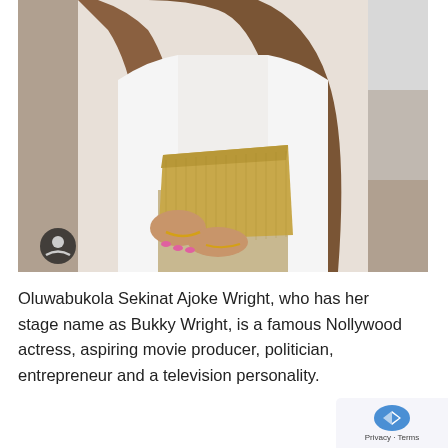[Figure (photo): Photo of a woman in a white outfit holding a gold/beige clutch bag, with long brown hair. A dark circular avatar icon overlay is visible in the lower left of the image.]
Oluwabukola Sekinat Ajoke Wright, who has her stage name as Bukky Wright, is a famous Nollywood actress, aspiring movie producer, politician, entrepreneur and a television personality.